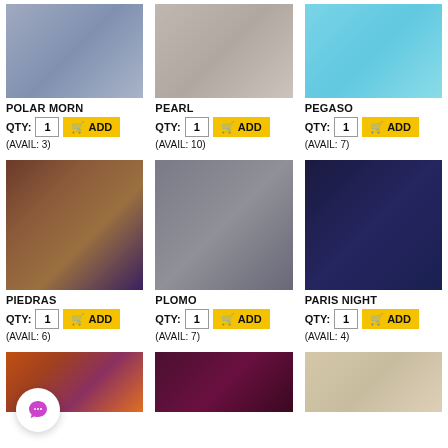[Figure (photo): Skein of gray-blue yarn labeled POLAR MORN]
POLAR MORN
QTY: 1 ADD (AVAIL: 3)
[Figure (photo): Skein of beige/gray yarn labeled PEARL]
PEARL
QTY: 1 ADD (AVAIL: 10)
[Figure (photo): Skein of light blue yarn labeled PEGASO]
PEGASO
QTY: 1 ADD (AVAIL: 7)
[Figure (photo): Skein of multicolor brown/purple/gold yarn labeled PIEDRAS]
PIEDRAS
QTY: 1 ADD (AVAIL: 6)
[Figure (photo): Skein of dark gray yarn labeled PLOMO]
PLOMO
QTY: 1 ADD (AVAIL: 7)
[Figure (photo): Skein of navy blue yarn labeled PARIS NIGHT]
PARIS NIGHT
QTY: 1 ADD (AVAIL: 4)
[Figure (photo): Skein of multicolor orange/pink yarn (bottom row, partially visible)]
[Figure (photo): Skein of dark purple/burgundy yarn (bottom row, partially visible)]
[Figure (photo): Skein of beige/cream yarn (bottom row, partially visible)]